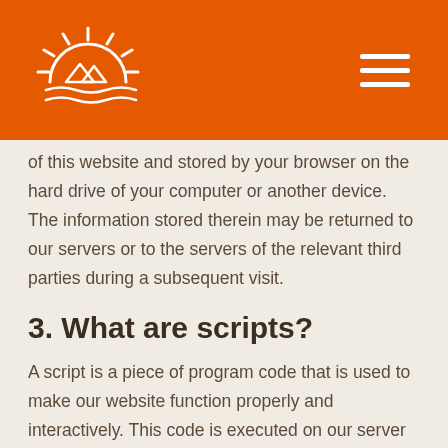[Logo and navigation header]
of this website and stored by your browser on the hard drive of your computer or another device. The information stored therein may be returned to our servers or to the servers of the relevant third parties during a subsequent visit.
3. What are scripts?
A script is a piece of program code that is used to make our website function properly and interactively. This code is executed on our server or on your device.
4. What is a web beacon?
A web beacon (or a pixel tag) is a small, invisible piece of